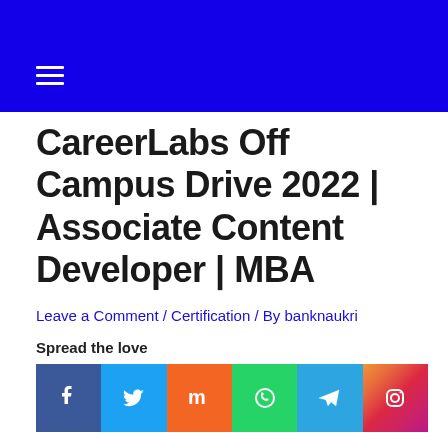CareerLabs Off Campus Drive 2022 | Associate Content Developer | MBA
Leave a Comment / Certification / By banknaukri
Spread the love
[Figure (other): Social media share icons: Facebook, Twitter, Mix, WhatsApp, Telegram, Instagram]
CareerLabs Off Campus Drive 2022 – Off Campus Jobs, Walk-In Drive, Recruitment, Careers, Eligibility, Salary, Skills, Selection Process : CareerLabs company is going to recruit